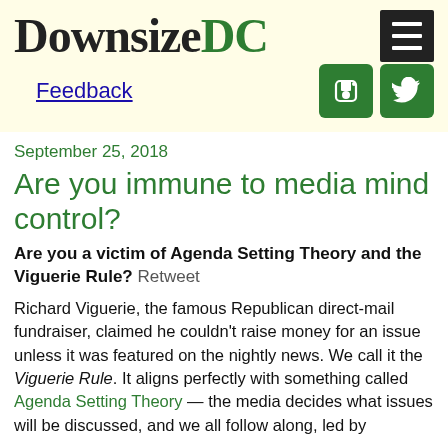Downsize DC
Feedback
September 25, 2018
Are you immune to media mind control?
Are you a victim of Agenda Setting Theory and the Viguerie Rule? Retweet
Richard Viguerie, the famous Republican direct-mail fundraiser, claimed he couldn't raise money for an issue unless it was featured on the nightly news. We call it the Viguerie Rule. It aligns perfectly with something called Agenda Setting Theory — the media decides what issues will be discussed, and we all follow along, led by